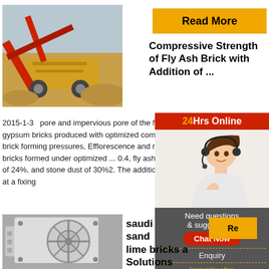[Figure (photo): Large red and yellow mining/crushing machine on a sandy construction site]
Read More
Compressive Strength of Fly Ash Brick with Addition of ...
2015-1-3  pore and impervious pore of the fly ash gypsum bricks produced with optimized compositi brick forming pressures, Efflorescence and radio a bricks formed under optimized ... 0.4, fly ash of 39 of 24%, and stone dust of 30%2. The addition of f at a fixing
[Figure (photo): 24Hrs Online customer service widget with woman wearing headset]
Need questions & suggestion?
Chat Now
Enquiry
limingjlmofen
[Figure (photo): White industrial jaw crusher machine]
Re
saudi sand lime bricks a Solutions